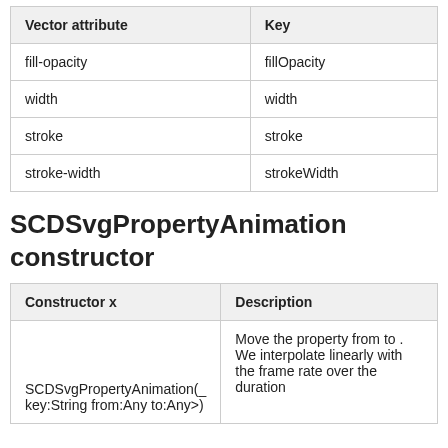| Vector attribute | Key |
| --- | --- |
| fill-opacity | fillOpacity |
| width | width |
| stroke | stroke |
| stroke-width | strokeWidth |
SCDSvgPropertyAnimation constructor
| Constructor x | Description |
| --- | --- |
| SCDSvgPropertyAnimation(_key:String from:Any to:Any>) | Move the property from to . We interpolate linearly with the frame rate over the duration |